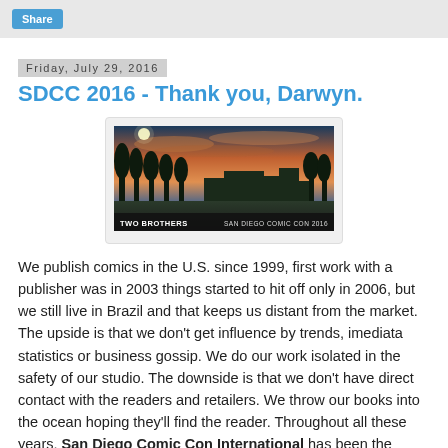Share
Friday, July 29, 2016
SDCC 2016 - Thank you, Darwyn.
[Figure (photo): Panoramic photo of San Diego Comic Con 2016 venue at dusk with trees and buildings, captioned TWO BROTHERS and SAN DIEGO COMIC CON 2016]
We publish comics in the U.S. since 1999, first work with a publisher was in 2003 things started to hit off only in 2006, but we still live in Brazil and that keeps us distant from the market. The upside is that we don't get influence by trends, imediata statistics or business gossip. We do our work isolated in the safety of our studio. The downside is that we don't have direct contact with the readers and retailers. We throw our books into the ocean hoping they'll find the reader. Throughout all these years, San Diego Comic Con International has been the moment we have to connect with the market, the editors, artists and readers. We've been